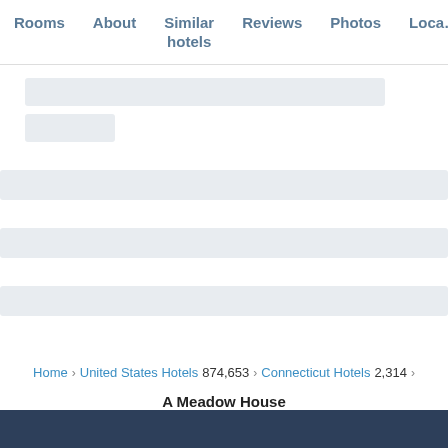Rooms  About  Similar hotels  Reviews  Photos  Loca…
[Figure (screenshot): Loading skeleton placeholder bars showing content loading state — four gray rectangular placeholder blocks of varying widths]
Home › United States Hotels 874,653 › Connecticut Hotels 2,314 ›
A Meadow House